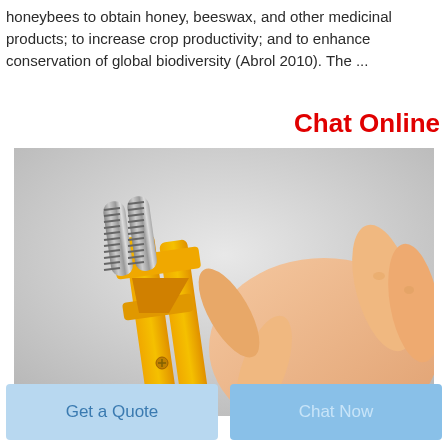honeybees to obtain honey, beeswax, and other medicinal products; to increase crop productivity; and to enhance conservation of global biodiversity (Abrol 2010). The ...
Chat Online
[Figure (photo): A hand holding a yellow plastic beekeeping tool (queen marking tool / bee catcher) with two silver metal cylindrical rollers protruding from the top, against a light grey background.]
Get a Quote
Chat Now